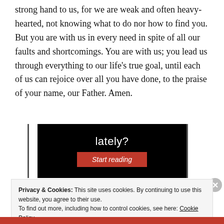strong hand to us, for we are weak and often heavy-hearted, not knowing what to do nor how to find you. But you are with us in every need in spite of all our faults and shortcomings. You are with us; you lead us through everything to our life's true goal, until each of us can rejoice over all you have done, to the praise of your name, our Father. Amen.
[Figure (screenshot): Black banner ad with white text 'lately?' and a red 'Start reading' button]
Privacy & Cookies: This site uses cookies. By continuing to use this website, you agree to their use.
To find out more, including how to control cookies, see here: Cookie Policy